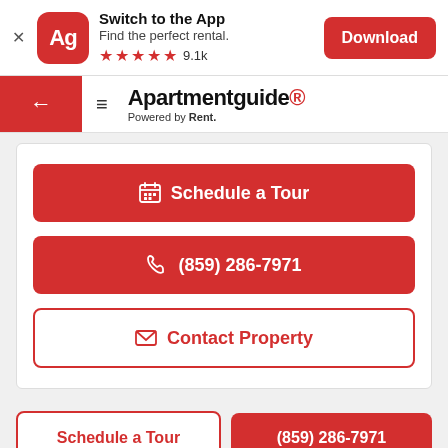[Figure (screenshot): App download banner with Apartmentguide app icon (red rounded square with white 'Ag' text), title 'Switch to the App', subtitle 'Find the perfect rental.', 5 red stars rating with '9.1k', and a red Download button]
[Figure (screenshot): Navigation bar with red back arrow block on left, hamburger menu icon, Apartmentguide logo with 'Powered by Rent.' tagline]
[Figure (screenshot): White card with three action buttons: 'Schedule a Tour' (red filled), '(859) 286-7971' (red filled), 'Contact Property' (red outlined)]
[Figure (screenshot): Bottom action bar with 'Schedule a Tour' outlined button and '(859) 286-7971' red filled button]